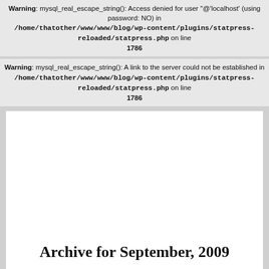Warning: mysql_real_escape_string(): Access denied for user ''@'localhost' (using password: NO) in /home/thatother/www/www/blog/wp-content/plugins/statpress-reloaded/statpress.php on line 1786
Warning: mysql_real_escape_string(): A link to the server could not be established in /home/thatother/www/www/blog/wp-content/plugins/statpress-reloaded/statpress.php on line 1786
Archive for September, 2009
That other post-it note
Tuesday, September 29th, 2009